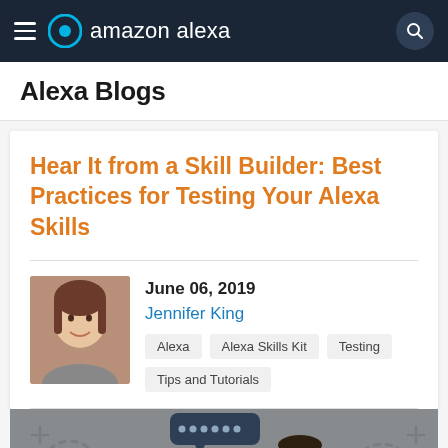amazon alexa
Alexa Blogs
Hear It from a Skill Builder: Best Practices for Testing Your Alexa Skills
June 06, 2019
Jennifer King
Alexa | Alexa Skills Kit | Testing | Tips and Tutorials
[Figure (illustration): Illustration of a person at a desk with chat bubbles and Alexa device, gears in background, on a gray background.]